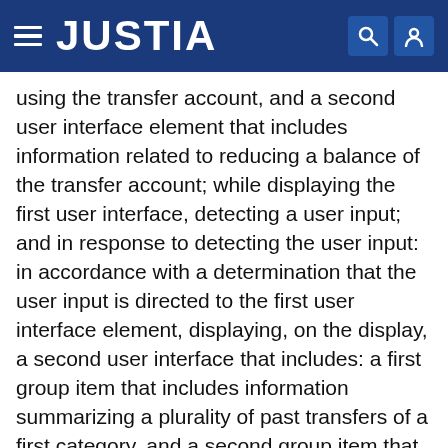JUSTIA
using the transfer account, and a second user interface element that includes information related to reducing a balance of the transfer account; while displaying the first user interface, detecting a user input; and in response to detecting the user input: in accordance with a determination that the user input is directed to the first user interface element, displaying, on the display, a second user interface that includes: a first group item that includes information summarizing a plurality of past transfers of a first category, and a second group item that includes information summarizing a plurality of past transfers of a second category that is different from the first category; and in accordance with a determination that the user input is directed to the second user interface element, displaying, on the display, a third user interface that includes: an option to reduce the balance of the transfer account.